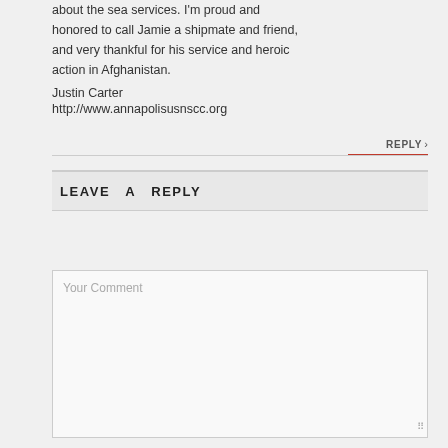about the sea services. I'm proud and honored to call Jamie a shipmate and friend, and very thankful for his service and heroic action in Afghanistan.
Justin Carter
http://www.annapolisusnscc.org
REPLY ›
LEAVE A REPLY
Your Comment